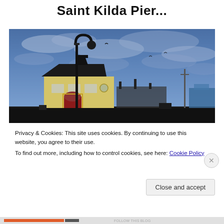Saint Kilda Pier...
[Figure (photo): Photograph of Saint Kilda Pier showing a yellow heritage building with dark roof and arched entrance, a tall black street lamp, and a cloudy blue sky. Industrial structures visible in background.]
Privacy & Cookies: This site uses cookies. By continuing to use this website, you agree to their use.
To find out more, including how to control cookies, see here: Cookie Policy
Close and accept